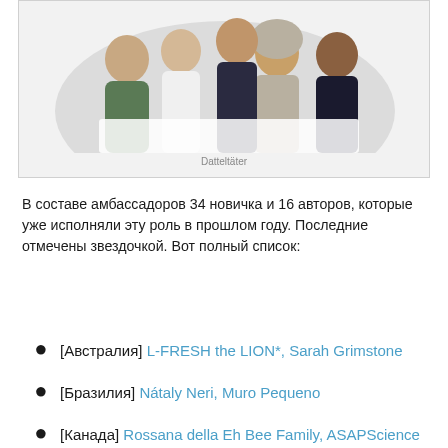[Figure (photo): Group photo of four young people (three men and one woman wearing hijab) posing together against a light background, likely promotional image for Datteltäter]
Datteltäter
В составе амбассадоров 34 новичка и 16 авторов, которые уже исполняли эту роль в прошлом году. Последние отмечены звездочкой. Вот полный список:
[Австралия] L-FRESH the LION*, Sarah Grimstone
[Бразилия] Nátaly Neri, Muro Pequeno
[Канада] Rossana della Eh Bee Family, ASAPScience